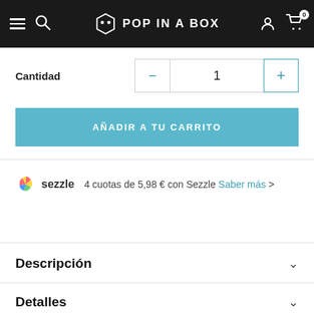POP IN A BOX — navigation header with hamburger menu, search, logo, user icon, cart (0)
Cantidad  1
AÑADIR A TU CARRITO
sezzle  4 cuotas de 5,98 € con Sezzle  Saber más  >
Descripción
Detalles